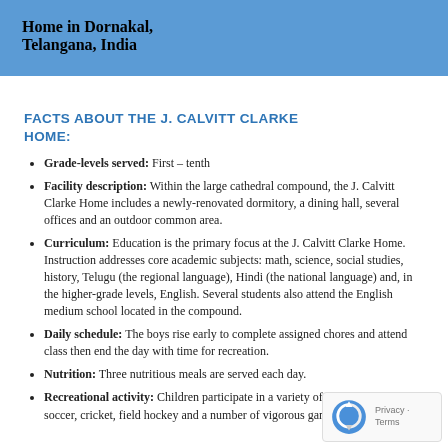Home in Dornakal, Telangana, India
FACTS ABOUT THE J. CALVITT CLARKE HOME:
Grade-levels served: First – tenth
Facility description: Within the large cathedral compound, the J. Calvitt Clarke Home includes a newly-renovated dormitory, a dining hall, several offices and an outdoor common area.
Curriculum: Education is the primary focus at the J. Calvitt Clarke Home. Instruction addresses core academic subjects: math, science, social studies, history, Telugu (the regional language), Hindi (the national language) and, in the higher-grade levels, English. Several students also attend the English medium school located in the compound.
Daily schedule: The boys rise early to complete assigned chores and attend class then end the day with time for recreation.
Nutrition: Three nutritious meals are served each day.
Recreational activity: Children participate in a variety of sports including soccer, cricket, field hockey and a number of vigorous games